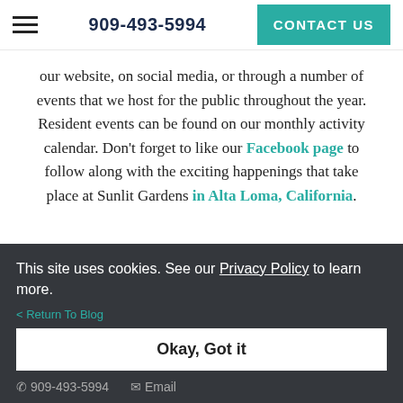909-493-5994 | CONTACT US
our website, on social media, or through a number of events that we host for the public throughout the year. Resident events can be found on our monthly activity calendar. Don’t forget to like our Facebook page to follow along with the exciting happenings that take place at Sunlit Gardens in Alta Loma, California.
This site uses cookies. See our Privacy Policy to learn more.
< Return To Blog
Okay, Got it
909-493-5994   Email